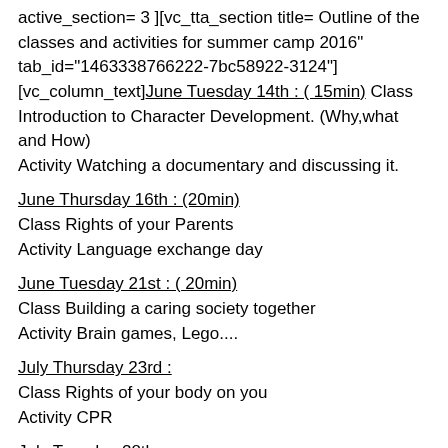active_section= 3 ][vc_tta_section title= Outline of the classes and activities for summer camp 2016" tab_id="1463338766222-7bc58922-3124"][vc_column_text]June Tuesday 14th : ( 15min) Class Introduction to Character Development. (Why,what and How)
Activity Watching a documentary and discussing it.
June Thursday 16th : (20min)
Class Rights of your Parents
Activity Language exchange day
June Tuesday 21st : ( 20min)
Class Building a caring society together
Activity Brain games, Lego....
July Thursday 23rd :
Class Rights of your body on you
Activity CPR
July Tuesday 28th :
Class The golden age of Islam